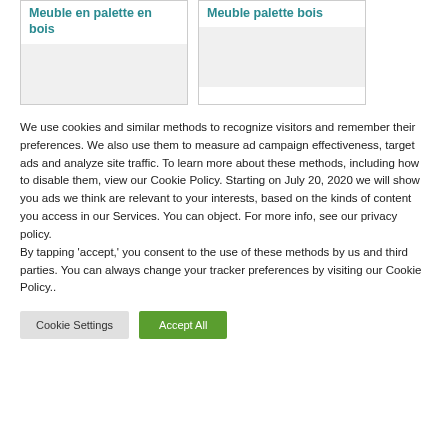Meuble en palette en bois
Meuble palette bois
[Figure (photo): Placeholder image area for Meuble en palette en bois]
[Figure (photo): Placeholder image area for Meuble palette bois]
We use cookies and similar methods to recognize visitors and remember their preferences. We also use them to measure ad campaign effectiveness, target ads and analyze site traffic. To learn more about these methods, including how to disable them, view our Cookie Policy. Starting on July 20, 2020 we will show you ads we think are relevant to your interests, based on the kinds of content you access in our Services. You can object. For more info, see our privacy policy.
By tapping ‘accept,’ you consent to the use of these methods by us and third parties. You can always change your tracker preferences by visiting our Cookie Policy..
Cookie Settings
Accept All